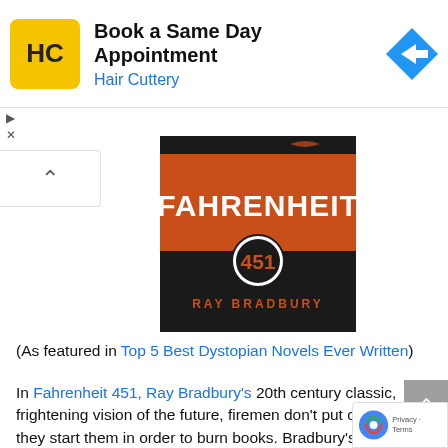[Figure (infographic): Hair Cuttery ad banner with logo, 'Book a Same Day Appointment' text, and blue navigation arrow icon]
[Figure (illustration): Book cover of Fahrenheit 451 by Ray Bradbury — orange/red top half with bold white text 'FAHRENHEIT', black bottom half with '451' in a white circle and 'RAY BRADBURY' in orange text]
(As featured in Top 5 Best Dystopian Novels Ever Written)
In Fahrenheit 451, Ray Bradbury's 20th century classic, frightening vision of the future, firemen don't put out fires–they start them in order to burn books. Bradbury's vividly painted society holds up the appearance of happiness